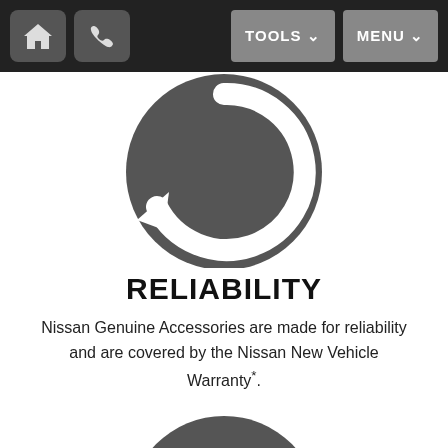TOOLS  MENU
[Figure (illustration): Circular refresh/reliability icon — dark grey circle with white circular arrows and a left-pointing arrow]
RELIABILITY
Nissan Genuine Accessories are made for reliability and are covered by the Nissan New Vehicle Warranty*.
[Figure (illustration): Dark grey circle containing a white puzzle piece icon with four interlocking tabs]